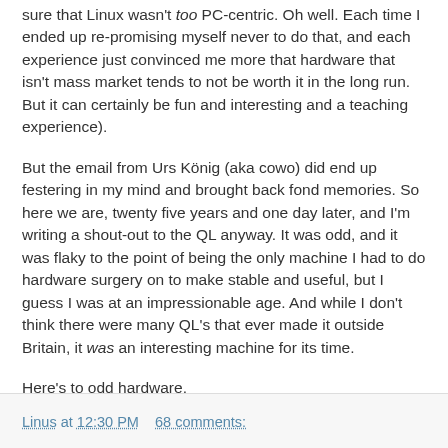sure that Linux wasn't too PC-centric. Oh well. Each time I ended up re-promising myself never to do that, and each experience just convinced me more that hardware that isn't mass market tends to not be worth it in the long run. But it can certainly be fun and interesting and a teaching experience).
But the email from Urs König (aka cowo) did end up festering in my mind and brought back fond memories. So here we are, twenty five years and one day later, and I'm writing a shout-out to the QL anyway. It was odd, and it was flaky to the point of being the only machine I had to do hardware surgery on to make stable and useful, but I guess I was at an impressionable age. And while I don't think there were many QL's that ever made it outside Britain, it was an interesting machine for its time.
Here's to odd hardware.
Linus at 12:30 PM    68 comments: